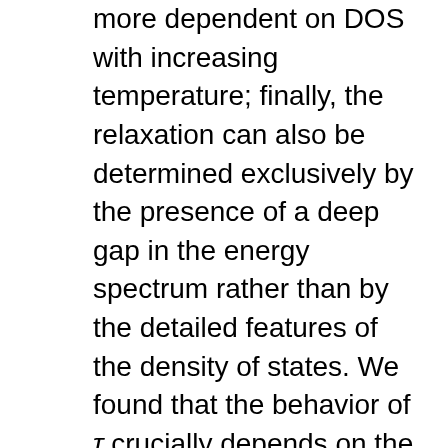more dependent on DOS with increasing temperature; finally, the relaxation can also be determined exclusively by the presence of a deep gap in the energy spectrum rather than by the detailed features of the density of states. We found that the behavior of τ crucially depends on the degeneracy of the energy spectrum. For the